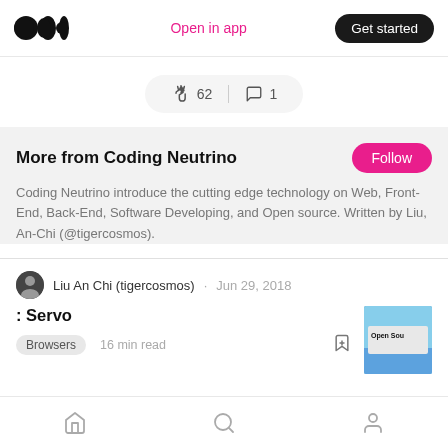Medium logo | Open in app | Get started
[Figure (infographic): Clap count 62 and comment count 1 action bar]
More from Coding Neutrino
Coding Neutrino introduce the cutting edge technology on Web, Front-End, Back-End, Software Developing, and Open source. Written by Liu, An-Chi (@tigercosmos).
Liu An Chi (tigercosmos) · Jun 29, 2018
: Servo
Browsers  16 min read
Home | Search | Profile